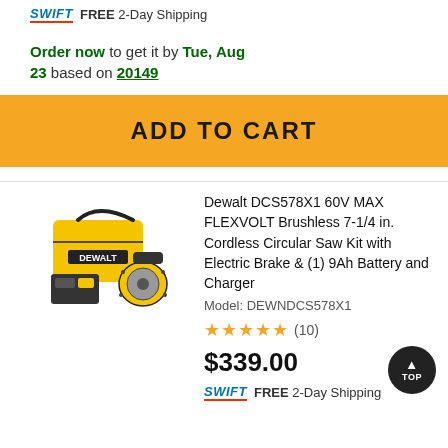SWIFT FREE 2-Day Shipping
Order now to get it by Tue, Aug 23 based on 20149
ADD TO CART
[Figure (photo): Dewalt DCS578X1 circular saw kit with battery, charger, and carrying bag]
Dewalt DCS578X1 60V MAX FLEXVOLT Brushless 7-1/4 in. Cordless Circular Saw Kit with Electric Brake & (1) 9Ah Battery and Charger
Model: DEWNDCS578X1
★★★★★ (10)
$339.00
SWIFT FREE 2-Day Shipping